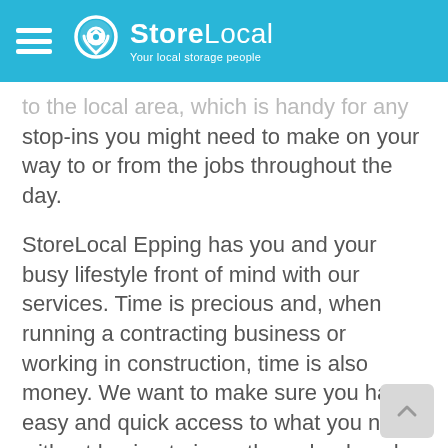StoreLocal — Your local storage people
to the local area, which is handy for any stop-ins you might need to make on your way to or from the jobs throughout the day.
StoreLocal Epping has you and your busy lifestyle front of mind with our services. Time is precious and, when running a contracting business or working in construction, time is also money. We want to make sure you have easy and quick access to what you need without having to jump through a bunch of hoops or wait for one of our team members to be onsite.